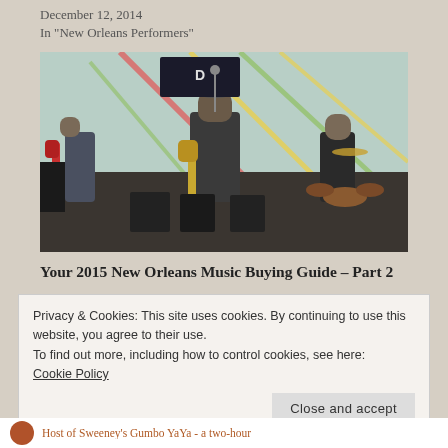December 12, 2014
In "New Orleans Performers"
[Figure (photo): Band performing on an outdoor stage. Center: guitarist in dark shirt and hat playing a gold guitar. Left: bassist with a red electric guitar. Right: drummer at a drum kit. Colorful tent structure visible in background.]
Your 2015 New Orleans Music Buying Guide – Part 2
Privacy & Cookies: This site uses cookies. By continuing to use this website, you agree to their use.
To find out more, including how to control cookies, see here:
Cookie Policy
Close and accept
Host of Sweeney's Gumbo YaYa - a two-hour